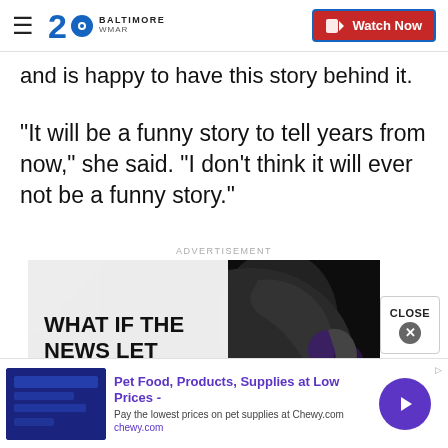2 BALTIMORE WMAR | Watch Now
and is happy to have this story behind it.
"It will be a funny story to tell years from now," she said. "I don't think it will ever not be a funny story."
ADVERTISEMENT
[Figure (photo): Advertisement showing a person's profile face in dramatic lighting with text: WHAT IF THE NEWS LET YOU SEE FOR YOURSELF?]
[Figure (infographic): Bottom banner ad for Chewy.com: Pet Food, Products, Supplies at Low Prices - Pay the lowest prices on pet supplies at Chewy.com]